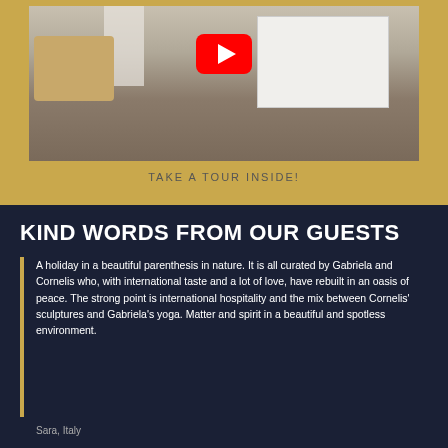[Figure (photo): Interior room photo showing a living area with sofa, bookshelf, tiled floor, and curtains. A YouTube play button is overlaid on the image.]
TAKE A TOUR INSIDE!
KIND WORDS FROM OUR GUESTS
A holiday in a beautiful parenthesis in nature. It is all curated by Gabriela and Cornelis who, with international taste and a lot of love, have rebuilt in an oasis of peace. The strong point is international hospitality and the mix between Cornelis' sculptures and Gabriela's yoga. Matter and spirit in a beautiful and spotless environment.
Sara, Italy